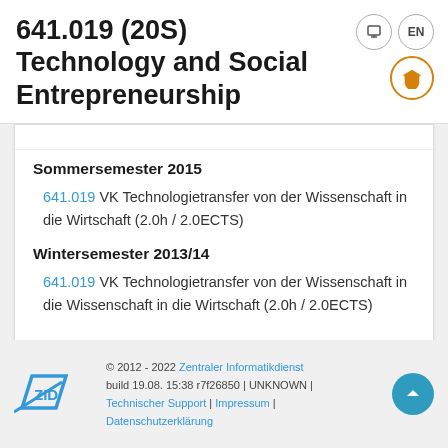641.019 (20S) Technology and Social Entrepreneurship
Sommersemester 2015
641.019 VK Technologietransfer von der Wissenschaft in die Wirtschaft (2.0h / 2.0ECTS)
Wintersemester 2013/14
641.019 VK Technologietransfer von der Wissenschaft in die Wirtschaft (2.0h / 2.0ECTS)
© 2012 - 2022 Zentraler Informatikdienst build 19.08. 15:38 r7f26850 | UNKNOWN | Technischer Support | Impressum | Datenschutzerklärung